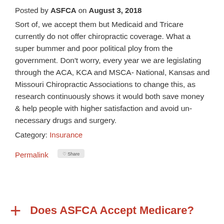Posted by ASFCA on August 3, 2018 Sort of, we accept them but Medicaid and Tricare currently do not offer chiropractic coverage. What a super bummer and poor political ploy from the government. Don't worry, every year we are legislating through the ACA, KCA and MSCA- National, Kansas and Missouri Chiropractic Associations to change this, as research continuously shows it would both save money & help people with higher satisfaction and avoid un-necessary drugs and surgery. Category: Insurance
Permalink
Does ASFCA Accept Medicare?